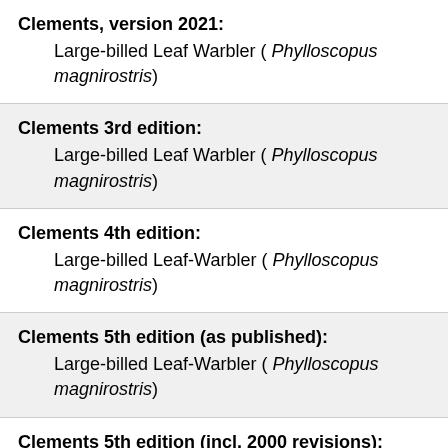Clements, version 2021: Large-billed Leaf Warbler ( Phylloscopus magnirostris)
Clements 3rd edition: Large-billed Leaf Warbler ( Phylloscopus magnirostris)
Clements 4th edition: Large-billed Leaf-Warbler ( Phylloscopus magnirostris)
Clements 5th edition (as published): Large-billed Leaf-Warbler ( Phylloscopus magnirostris)
Clements 5th edition (incl. 2000 revisions): Large-billed Leaf-Warbler ( Phylloscopus